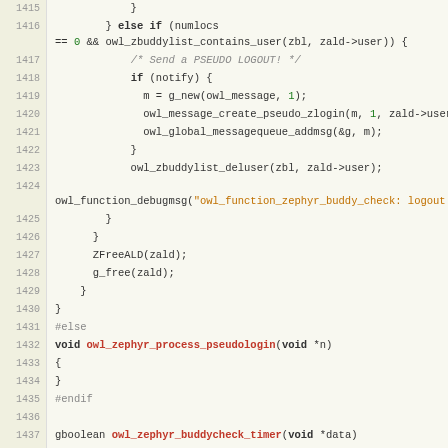[Figure (screenshot): Source code listing showing C code for owl_zephyr buddy check functions, lines 1415-1443, with syntax highlighting. Background is light yellow/green, line numbers in left gutter, keywords in bold, function names in red, strings in orange, numbers in green, comments in gray italic, preprocessor directives in gray.]